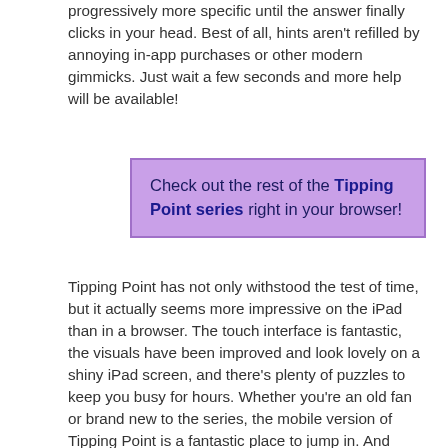progressively more specific until the answer finally clicks in your head. Best of all, hints aren't refilled by annoying in-app purchases or other modern gimmicks. Just wait a few seconds and more help will be available!
Check out the rest of the Tipping Point series right in your browser!
Tipping Point has not only withstood the test of time, but it actually seems more impressive on the iPad than in a browser. The touch interface is fantastic, the visuals have been improved and look lovely on a shiny iPad screen, and there's plenty of puzzles to keep you busy for hours. Whether you're an old fan or brand new to the series, the mobile version of Tipping Point is a fantastic place to jump in. And hooray for chapter five!!!